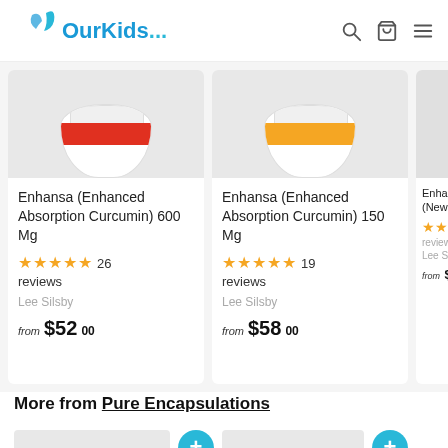OurKids...
[Figure (photo): Product card: Enhansa (Enhanced Absorption Curcumin) 600 Mg - white jar with red band label]
Enhansa (Enhanced Absorption Curcumin) 600 Mg
★★★★★ 26 reviews
Lee Silsby
from $52.00
[Figure (photo): Product card: Enhansa (Enhanced Absorption Curcumin) 150 Mg - white jar with orange band label]
Enhansa (Enhanced Absorption Curcumin) 150 Mg
★★★★★ 19 reviews
Lee Silsby
from $58.00
[Figure (photo): Partial product card: Enhansa (New...) partially visible on right edge]
More from Pure Encapsulations